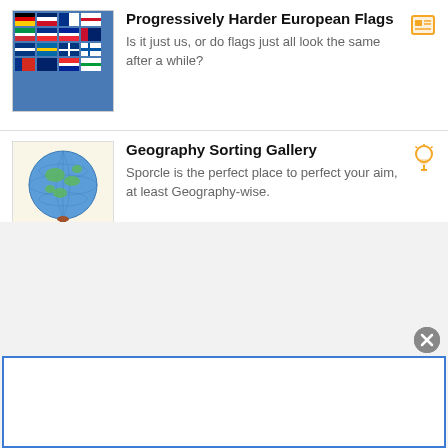[Figure (illustration): Thumbnail image of European flags grid]
Progressively Harder European Flags
Is it just us, or do flags just all look the same after a while?
[Figure (illustration): Orange image/quiz icon in top right of first card]
[Figure (illustration): Thumbnail image of a globe on a stand]
Geography Sorting Gallery
Sporcle is the perfect place to perfect your aim, at least Geography-wise.
[Figure (illustration): Orange lightbulb/pin icon in top right of second card]
play quizzes ad-free
[Figure (screenshot): Advertisement placeholder box with blue border and close button]